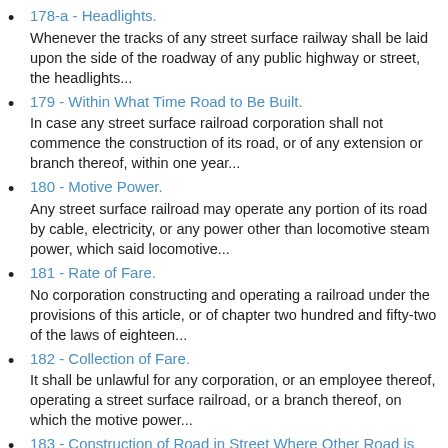178-a - Headlights.
Whenever the tracks of any street surface railway shall be laid upon the side of the roadway of any public highway or street, the headlights...
179 - Within What Time Road to Be Built.
In case any street surface railroad corporation shall not commence the construction of its road, or of any extension or branch thereof, within one year...
180 - Motive Power.
Any street surface railroad may operate any portion of its road by cable, electricity, or any power other than locomotive steam power, which said locomotive...
181 - Rate of Fare.
No corporation constructing and operating a railroad under the provisions of this article, or of chapter two hundred and fifty-two of the laws of eighteen...
182 - Collection of Fare.
It shall be unlawful for any corporation, or an employee thereof, operating a street surface railroad, or a branch thereof, on which the motive power...
183 - Construction of Road in Street Where Other Road is Built.